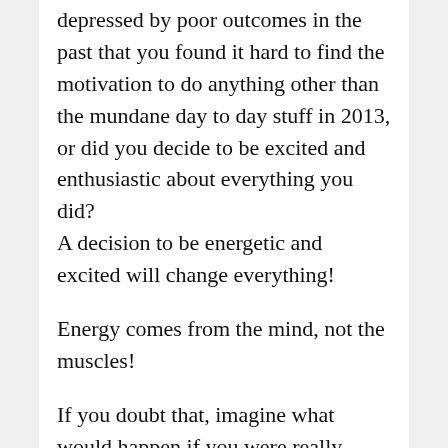depressed by poor outcomes in the past that you found it hard to find the motivation to do anything other than the mundane day to day stuff in 2013, or did you decide to be excited and enthusiastic about everything you did? A decision to be energetic and excited will change everything!
Energy comes from the mind, not the muscles!
If you doubt that, imagine what would happen if you were really pooped and struggling to find the energy to get into